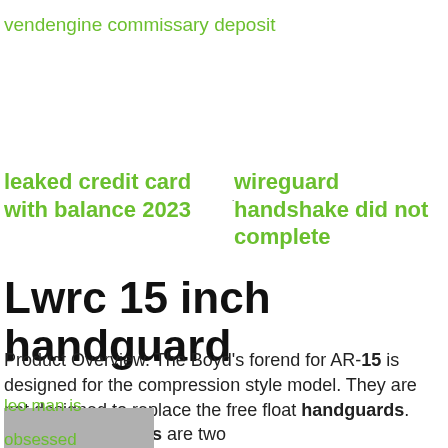vendengine commissary deposit
leaked credit card with balance 2023
wireguard handshake did not complete
Lwrc 15 inch handguard
Product Overview. The Boyd's forend for AR-15 is designed for the compression style model. They are not designed to replace the free float handguards. These handguards are two
leo man is obsessed